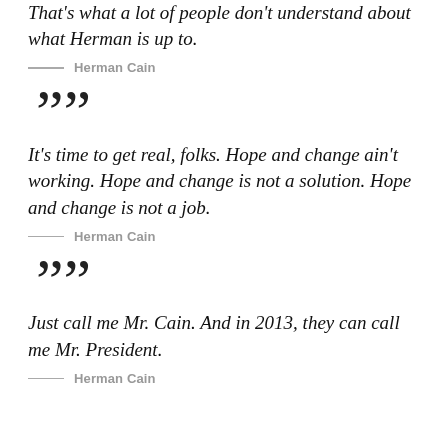That's what a lot of people don't understand about what Herman is up to.
— Herman Cain
””
It’s time to get real, folks. Hope and change ain’t working. Hope and change is not a solution. Hope and change is not a job.
— Herman Cain
””
Just call me Mr. Cain. And in 2013, they can call me Mr. President.
— Herman Cain